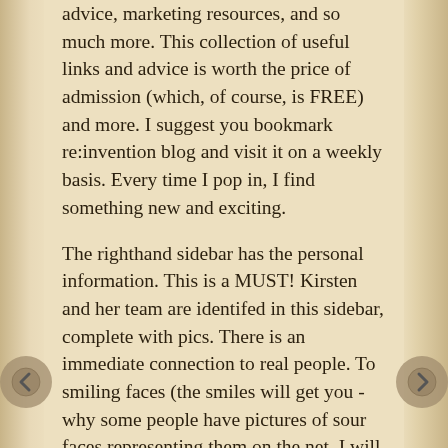advice, marketing resources, and so much more. This collection of useful links and advice is worth the price of admission (which, of course, is FREE) and more. I suggest you bookmark re:invention blog and visit it on a weekly basis. Every time I pop in, I find something new and exciting.
The righthand sidebar has the personal information. This is a MUST! Kirsten and her team are identifed in this sidebar, complete with pics. There is an immediate connection to real people. To smiling faces (the smiles will get you - why some people have pictures of sour faces representing them on the net, I will never understand!). One of the features of this blog that makes it so fun, so popular, and so kitchy, is the shoe of the week. That shoe of the week is surely a girly-thing. Women love it! But, that's not why it's there. It's there...because Kirsten loves shoes! (Imelda Marcos eat your heart out!)